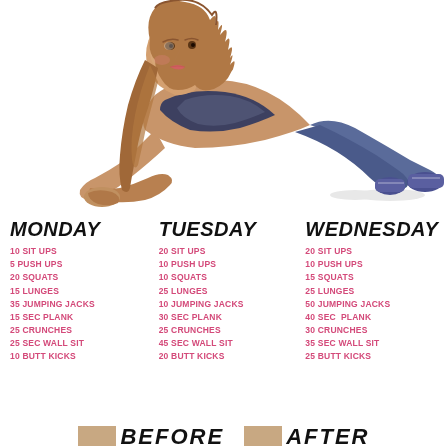[Figure (illustration): Illustration of a woman in plank/forearm plank exercise position, wearing workout clothes, viewed from the side. She has long brown hair and is wearing a blue sports bra, dark leggings, and blue sneakers.]
MONDAY
10 SIT UPS
5 PUSH UPS
20 SQUATS
15 LUNGES
35 JUMPING JACKS
15 SEC PLANK
25 CRUNCHES
25 SEC WALL SIT
10 BUTT KICKS
TUESDAY
20 SIT UPS
10 PUSH UPS
10 SQUATS
25 LUNGES
10 JUMPING JACKS
30 SEC PLANK
25 CRUNCHES
45 SEC WALL SIT
20 BUTT KICKS
WEDNESDAY
20 SIT UPS
10 PUSH UPS
15 SQUATS
25 LUNGES
50 JUMPING JACKS
40 SEC  PLANK
30 CRUNCHES
35 SEC WALL SIT
25 BUTT KICKS
BEFORE
AFTER